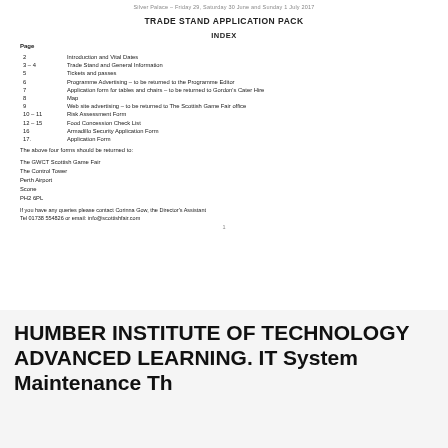Silver Palace – Friday 29, Saturday 30 June and Sunday 1 July 2017
TRADE STAND APPLICATION PACK
INDEX
Page
2    Introduction and Vital Dates
3 – 4    Trade Stand and General Information
5    Tickets and passes
6    Programme Advertising – to be returned to the Programme Editor
7    Application form for tables and chairs – to be returned to Gordon's Cater Hire
8    Map
9    Web site advertising – to be returned to The Scottish Game Fair office
10 – 11    Risk Assessment Form
12 – 15    Food Concession Check List
16    Armadillo Security Application Form
17.    Application Form
The above four forms should be returned to:
The GWCT Scottish Game Fair
The Control Tower
Perth Airport
Scone
PH2 6PL
If you have any queries please contact Corinna Gow, the Director's Assistant Tel 01738 554826 or email: info@scottishfair.com
1
HUMBER INSTITUTE OF TECHNOLOGY ADVANCED LEARNING. IT System Maintenance Th...